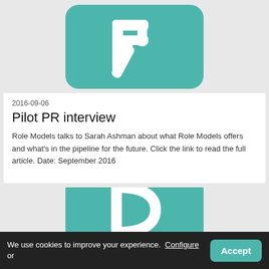[Figure (logo): Teal rounded square logo with white letter R (Role Models app icon)]
2016-09-06
Pilot PR interview
Role Models talks to Sarah Ashman about what Role Models offers and what's in the pipeline for the future. Click the link to read the full article. Date: September 2016
[Figure (logo): Teal rounded square logo with white letter D (Role Models app icon), partially visible]
We use cookies to improve your experience.  Configure or